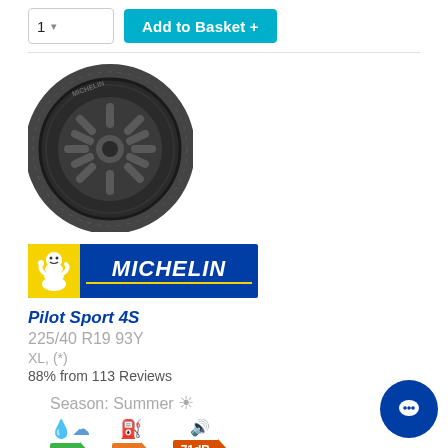[Figure (screenshot): Quantity selector showing '1' with dropdown arrow and 'Add to Basket +' teal button]
[Figure (photo): Michelin Pilot Sport 4S tyre product photo, black tyre with alloy wheel, angled view]
[Figure (logo): Michelin logo: yellow background with Bibendum mascot and blue background with white italic MICHELIN text and yellow underline]
Pilot Sport 4S
225/40 R19 93Y
XL, (*)
88% from 113 Reviews
Season: Summer ☀
[Figure (infographic): Three tyre rating columns: rain/wet grip icon with green B badge, fuel efficiency icon with orange E badge, noise icon with red-orange 71dB badge]